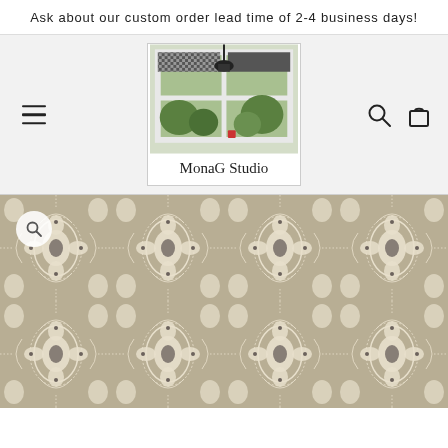Ask about our custom order lead time of 2-4 business days!
[Figure (logo): MonaG Studio logo with shop window photo above text 'MonaG Studio']
[Figure (photo): Close-up of a taupe/beige fabric with white and dark floral damask pattern, with a circular magnifying glass icon overlay in the top left corner]